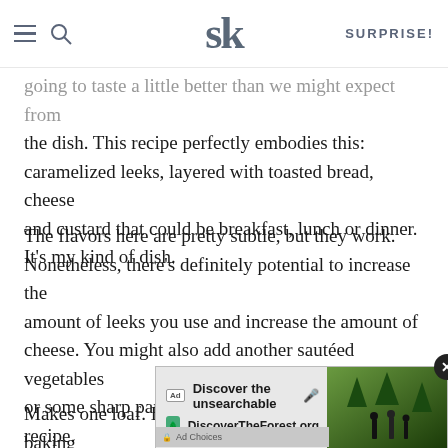SK | SURPRISE!
going to taste a little better than we might expect from the dish. This recipe perfectly embodies this: caramelized leeks, layered with toasted bread, cheese and custard that could be breakfast, lunch or dinner. It’s my kind of dish.
The flavors here are pretty subtle, but they work. Nonetheless, there’s definitely potential to increase the amount of leeks you use and increase the amount of cheese. You might also add another sautéed vegetables or some sharp parmesan as well. This is a flexible recipe.
Makes one loaf. Double the recipe to fit in a 9×13 baking
[Figure (screenshot): Advertisement banner: Discover the unsearchable / DiscoverTheForest.org with forest photo background and close button]